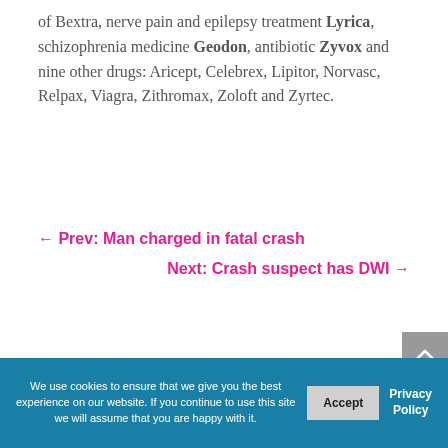of Bextra, nerve pain and epilepsy treatment Lyrica, schizophrenia medicine Geodon, antibiotic Zyvox and nine other drugs: Aricept, Celebrex, Lipitor, Norvasc, Relpax, Viagra, Zithromax, Zoloft and Zyrtec.
← Prev: Man charged in fatal crash
Next: Crash suspect has DWI →
We use cookies to ensure that we give you the best experience on our website. If you continue to use this site we will assume that you are happy with it.